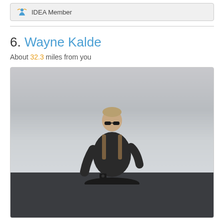IDEA Member
6. Wayne Kalde
About 32.3 miles from you
[Figure (photo): A man wearing sunglasses and a backpack standing outdoors with an overcast sky in the background. He appears to be on a high elevation location with expansive cloudy sky behind him.]